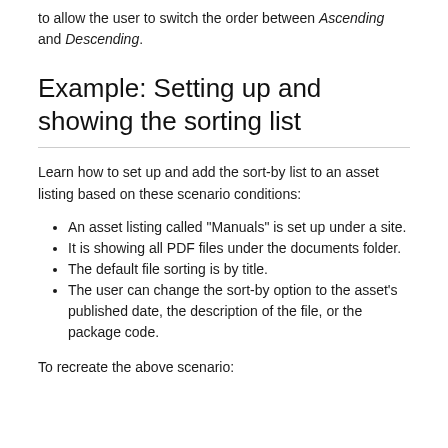to allow the user to switch the order between Ascending and Descending.
Example: Setting up and showing the sorting list
Learn how to set up and add the sort-by list to an asset listing based on these scenario conditions:
An asset listing called "Manuals" is set up under a site.
It is showing all PDF files under the documents folder.
The default file sorting is by title.
The user can change the sort-by option to the asset's published date, the description of the file, or the package code.
To recreate the above scenario: